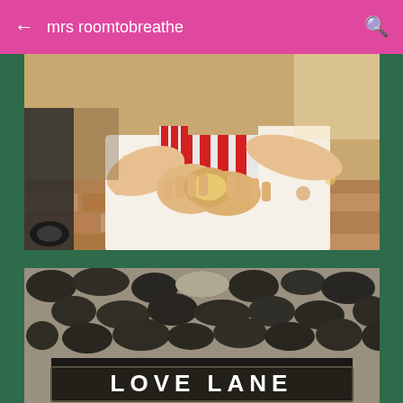mrs roomtobreathe
[Figure (photo): Close-up photo of a young child's hands holding food (appears to be a bread roll or pastry). The child is wearing a floral and red-striped dress. The background shows a brick paved surface and a stroller wheel on the left.]
[Figure (photo): Photo of a street sign reading 'LOVE LANE' mounted on a stone/flint wall. The sign has white text on a dark background with a rectangular border.]